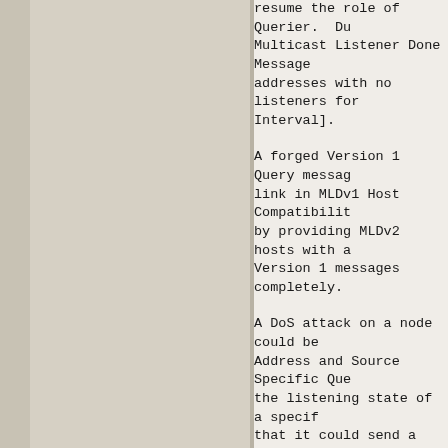resume the role of Querier.  Du Multicast Listener Done Message addresses with no listeners for Interval].

A forged Version 1 Query messag link in MLDv1 Host Compatibilit by providing MLDv2 hosts with a Version 1 messages completely.

A DoS attack on a node could be Address and Source Specific Que the listening state of a specif that it could send a large numb Specific Queries, each with a l Response Delay.  The node will specified in all of those queri delayed response.  This would c order to augment the recorded s in the successive queries.

To protect against such a DoS a could restrict the number of Mu Queries per multicast address w only a limited number of source